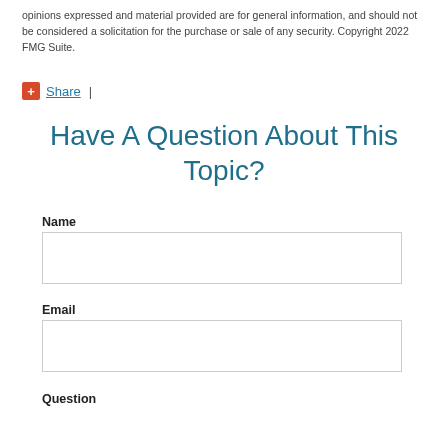opinions expressed and material provided are for general information, and should not be considered a solicitation for the purchase or sale of any security. Copyright 2022 FMG Suite.
Share |
Have A Question About This Topic?
Name
Email
Question